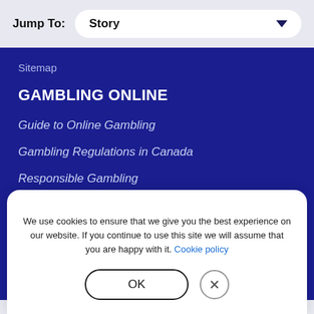Jump To: Story
Sitemap
GAMBLING ONLINE
Guide to Online Gambling
Gambling Regulations in Canada
Responsible Gambling
News
We use cookies to ensure that we give you the best experience on our website. If you continue to use this site we will assume that you are happy with it. Cookie policy